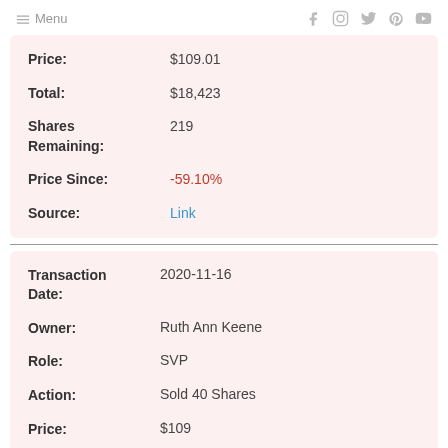Menu  (social icons: Facebook, Instagram, Twitter, Pinterest, YouTube)
| Field | Value |
| --- | --- |
| Price: | $109.01 |
| Total: | $18,423 |
| Shares Remaining: | 219 |
| Price Since: | -59.10% |
| Source: | Link |
| Field | Value |
| --- | --- |
| Transaction Date: | 2020-11-16 |
| Owner: | Ruth Ann Keene |
| Role: | SVP |
| Action: | Sold 40 Shares |
| Price: | $109 |
| Total: | $4,360 |